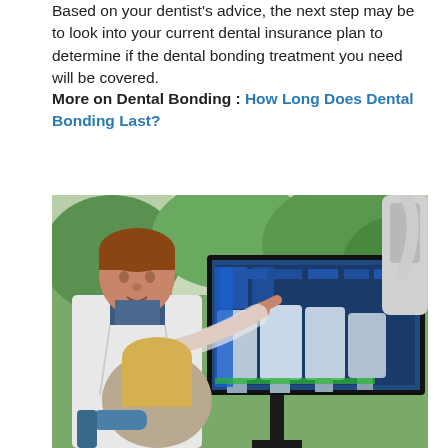Based on your dentist's advice, the next step may be to look into your current dental insurance plan to determine if the dental bonding treatment you need will be covered.
More on Dental Bonding : How Long Does Dental Bonding Last?
[Figure (photo): A dentist in a white coat pointing at a large monitor displaying dental X-rays, while a blonde patient seated in a dental chair looks on. The background shows trees through a window, and dental equipment is visible.]